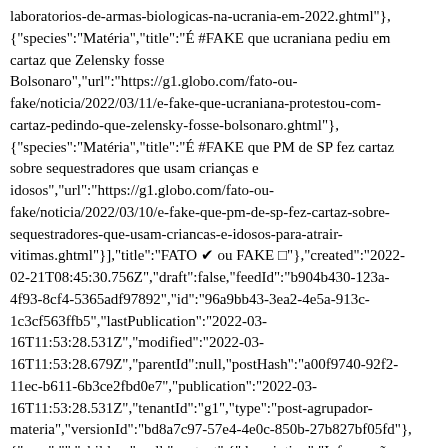laboratorios-de-armas-biologicas-na-ucrania-em-2022.ghtml"},{"species":"Matéria","title":"É #FAKE que ucraniana pediu em cartaz que Zelensky fosse Bolsonaro","url":"https://g1.globo.com/fato-ou-fake/noticia/2022/03/11/e-fake-que-ucraniana-protestou-com-cartaz-pedindo-que-zelensky-fosse-bolsonaro.ghtml"},{"species":"Matéria","title":"É #FAKE que PM de SP fez cartaz sobre sequestradores que usam crianças e idosos","url":"https://g1.globo.com/fato-ou-fake/noticia/2022/03/10/e-fake-que-pm-de-sp-fez-cartaz-sobre-sequestradores-que-usam-criancas-e-idosos-para-atrair-vitimas.ghtml"}],"title":"FATO ✔ ou FAKE □"},"created":"2022-02-21T08:45:30.756Z","draft":false,"feedId":"b904b430-123a-4f93-8cf4-5365adf97892","id":"96a9bb43-3ea2-4e5a-913c-1c3cf563ffb5","lastPublication":"2022-03-16T11:53:28.531Z","modified":"2022-03-16T11:53:28.679Z","parentId":null,"postHash":"a00f9740-92f2-11ec-b611-6b3ce2fbd0e7","publication":"2022-03-16T11:53:28.531Z","tenantId":"g1","type":"post-agrupador-materia","versionId":"bd8a7c97-57e4-4e0c-850b-27b827bf05fd"},{"area":"","children":null,"content":{"description":"Informações úteis para o seu dia a dia.","posts":[{"image":{"crop":{"bottom":3024,"height":3024,"left":394,"right":3972,"top":0,"width 1efe-441a-9947-5a7ba22b18b1","isAnimated":false,"name":"Nova linha de TVs da Samsung terá o Globoplay pré-instalado e vai